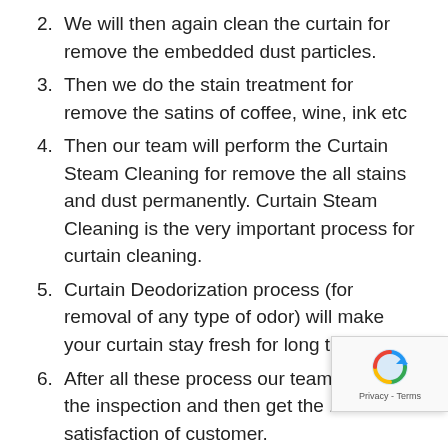2. We will then again clean the curtain for remove the embedded dust particles.
3. Then we do the stain treatment for remove the satins of coffee, wine, ink etc
4. Then our team will perform the Curtain Steam Cleaning for remove the all stains and dust permanently. Curtain Steam Cleaning is the very important process for curtain cleaning.
5. Curtain Deodorization process (for removal of any type of odor) will make your curtain stay fresh for long time.
6. After all these process our team will do the inspection and then get the 100% satisfaction of customer.
Our team know that curtain fabric are not same even in single home or office, so we use different method of cleaning for different type of fabric.
Oz Curtain Cleaning Knapp Creek Work Guaran…
Clean team Knapp Creek is committed to doing the job